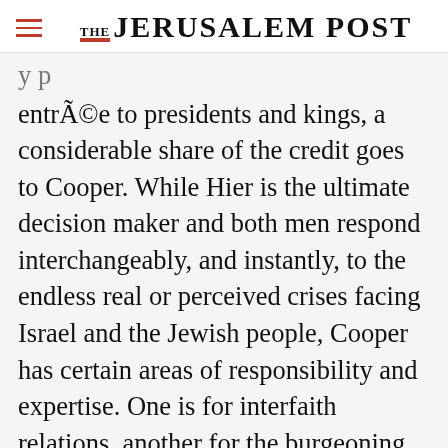THE JERUSALEM POST
entrée to presidents and kings, a considerable share of the credit goes to Cooper. While Hier is the ultimate decision maker and both men respond interchangeably, and instantly, to the endless real or perceived crises facing Israel and the Jewish people, Cooper has certain areas of responsibility and expertise. One is for interfaith relations, another for the burgeoning area of cyberspace. Cooper testified before Congress as
Advertisement